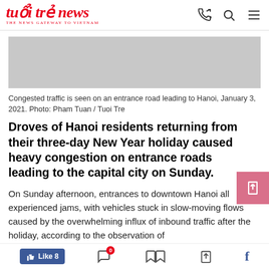tuổi trẻ news — THE NEWS GATEWAY TO VIETNAM
[Figure (photo): Congested traffic photo placeholder — gray rectangle]
Congested traffic is seen on an entrance road leading to Hanoi, January 3, 2021. Photo: Pham Tuan / Tuoi Tre
Droves of Hanoi residents returning from their three-day New Year holiday caused heavy congestion on entrance roads leading to the capital city on Sunday.
On Sunday afternoon, entrances to downtown Hanoi all experienced jams, with vehicles stuck in slow-moving flows caused by the overwhelming influx of inbound traffic after the holiday, according to the observation of